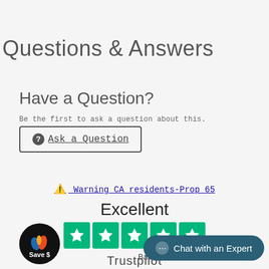Questions & Answers
Have a Question?
Be the first to ask a question about this.
Ask a Question
⚠ Warning CA residents-Prop 65
Excellent
[Figure (other): Five green Trustpilot star rating boxes]
Based on 913 review
[Figure (logo): Save $ badge - circular black badge with flame logo and Save $ text]
Trustpilot
Chat with an Expert